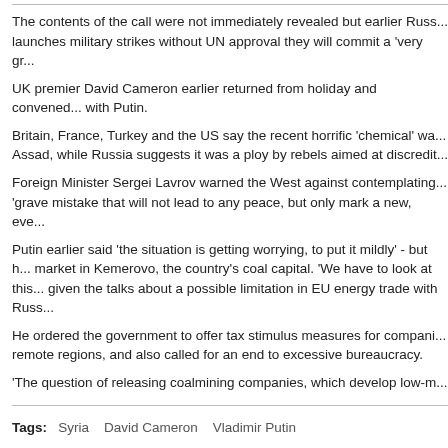The contents of the call were not immediately revealed but earlier Russ... launches military strikes without UN approval they will commit a 'very gr...
UK premier David Cameron earlier returned from holiday and convened... with Putin.
Britain, France, Turkey and the US say the recent horrific 'chemical' wa... Assad, while Russia suggests it was a ploy by rebels aimed at discredit...
Foreign Minister Sergei Lavrov warned the West against contemplating... 'grave mistake that will not lead to any peace, but only mark a new, eve...
Putin earlier said 'the situation is getting worrying, to put it mildly' - but h... market in Kemerovo, the country's coal capital. 'We have to look at this... given the talks about a possible limitation in EU energy trade with Russ...
He ordered the government to offer tax stimulus measures for compani... remote regions, and also called for an end to excessive bureaucracy.
'The question of releasing coalmining companies, which develop low-m... infrastructure in remote areas, from paying a royalty tax has been unde... 'I am asking the government to assess the situation and find a systema... needed to release such companies (from royalty tax), which are starting...
He added: 'We need to avoid excessive bureaucracy in order not to get... aimed at developing new deposits in Russia's Far East and in Tyva Rep...
Tags:   Syria   David Cameron   Vladimir Putin